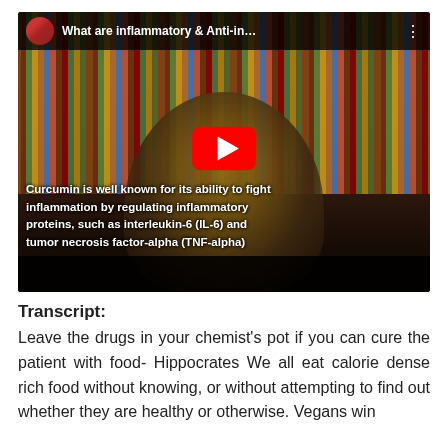[Figure (screenshot): YouTube video screenshot showing an elderly man seated in front of a bookshelf. A YouTube play button is visible. The video title reads 'What are inflammatory & Anti-in...' with a channel avatar in the top left. A subtitle overlay reads: 'Curcumin is well known for its ability to fight inflammation by regulating inflammatory proteins, such as interleukin-6 (IL-6) and tumor necrosis factor-alpha (TNF-alpha)']
Transcript:
Leave the drugs in your chemist's pot if you can cure the patient with food- Hippocrates We all eat calorie dense rich food without knowing, or without attempting to find out whether they are healthy or otherwise. Vegans win